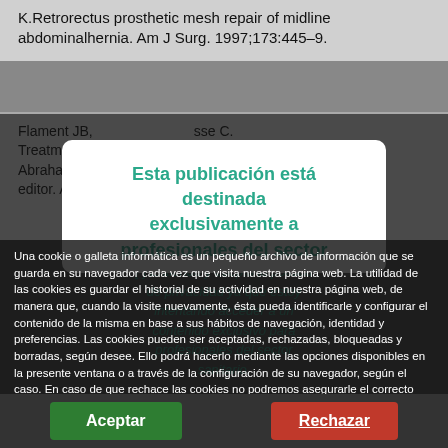K.Retrorectus prosthetic mesh repair of midline abdominalhernia. Am J Surg. 1997;173:445–9.
Flament JB, ... Avisse C. Treatment of ... Abramson ... ips EH, editor. Abdom... Saintoul O.
Esta publicación está destinada exclusivamente a profesionales del sector
[ ] Entiendo y acepto la política de privacidad ya que estoy intentando acceder a un contenido exclusivo para profesionales del sector sanitario.
Una cookie o galleta informática es un pequeño archivo de información que se guarda en su navegador cada vez que visita nuestra página web. La utilidad de las cookies es guardar el historial de su actividad en nuestra página web, de manera que, cuando la visite nuevamente, ésta pueda identificarle y configurar el contenido de la misma en base a sus hábitos de navegación, identidad y preferencias. Las cookies pueden ser aceptadas, rechazadas, bloqueadas y borradas, según desee. Ello podrá hacerlo mediante las opciones disponibles en la presente ventana o a través de la configuración de su navegador, según el caso. En caso de que rechace las cookies no podremos asegurarle el correcto funcionamiento de las distintas funcionalidades de nuestra página web. Más información en el apartado "POLÍTICA DE COOKIES" de nuestra página web.
Aceptar
Rechazar